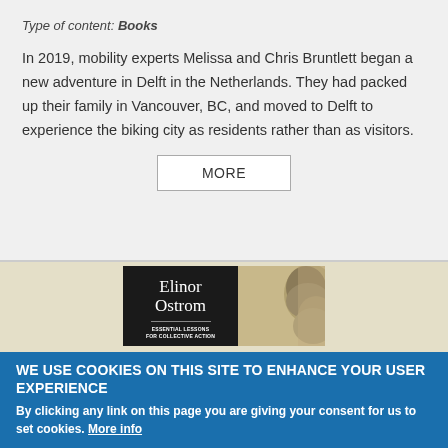Type of content: Books
In 2019, mobility experts Melissa and Chris Bruntlett began a new adventure in Delft in the Netherlands. They had packed up their family in Vancouver, BC, and moved to Delft to experience the biking city as residents rather than as visitors.
MORE
[Figure (photo): Book cover of 'Elinor Ostrom: Essential Lessons for Collective Action' showing the author's profile on the right side against a beige background, with the title in white text on a dark left panel.]
WE USE COOKIES ON THIS SITE TO ENHANCE YOUR USER EXPERIENCE
By clicking any link on this page you are giving your consent for us to set cookies. More info